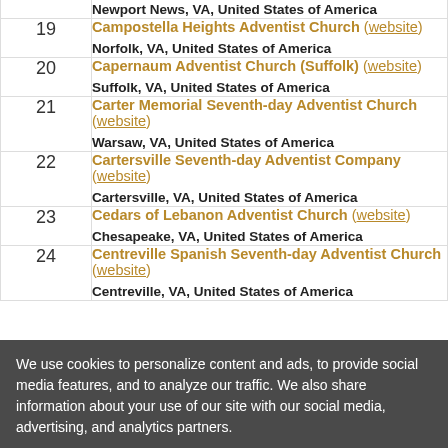| # | Church |
| --- | --- |
|  | Newport News, VA, United States of America |
| 19 | Campostella Heights Adventist Church (website)
Norfolk, VA, United States of America |
| 20 | Capernaum Adventist Church (Suffolk) (website)
Suffolk, VA, United States of America |
| 21 | Carter Memorial Seventh-day Adventist Church (website)
Warsaw, VA, United States of America |
| 22 | Cartersville Seventh-day Adventist Company (website)
Cartersville, VA, United States of America |
| 23 | Cedars of Lebanon Adventist Church (website)
Chesapeake, VA, United States of America |
| 24 | Centreville Spanish Seventh-day Adventist Church (website)
Centreville, VA, United States of America |
We use cookies to personalize content and ads, to provide social media features, and to analyze our traffic. We also share information about your use of our site with our social media, advertising, and analytics partners.